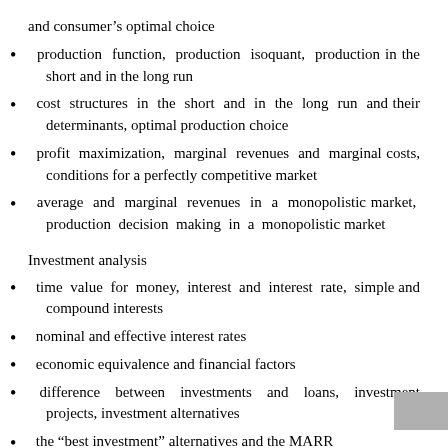and consumer's optimal choice
production function, production isoquant, production in the short and in the long run
cost structures in the short and in the long run and their determinants, optimal production choice
profit maximization, marginal revenues and marginal costs, conditions for a perfectly competitive market
average and marginal revenues in a monopolistic market, production decision making in a monopolistic market
Investment analysis
time value for money, interest and interest rate, simple and compound interests
nominal and effective interest rates
economic equivalence and financial factors
difference between investments and loans, investment projects, investment alternatives
the “best investment” alternatives and the MARR...